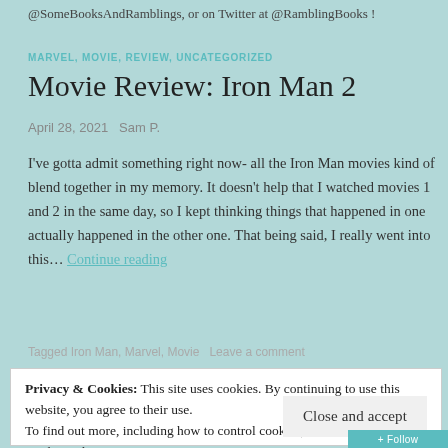@SomeBooksAndRamblings, or on Twitter at @RamblingBooks !
MARVEL, MOVIE, REVIEW, UNCATEGORIZED
Movie Review: Iron Man 2
April 28, 2021   Sam P.
I've gotta admit something right now- all the Iron Man movies kind of blend together in my memory. It doesn't help that I watched movies 1 and 2 in the same day, so I kept thinking things that happened in one actually happened in the other one. That being said, I really went into this… Continue reading
Tagged Iron Man, Marvel, Movie   Leave a comment
Privacy & Cookies: This site uses cookies. By continuing to use this website, you agree to their use.
To find out more, including how to control cookies, see here: Cookie Policy
Close and accept